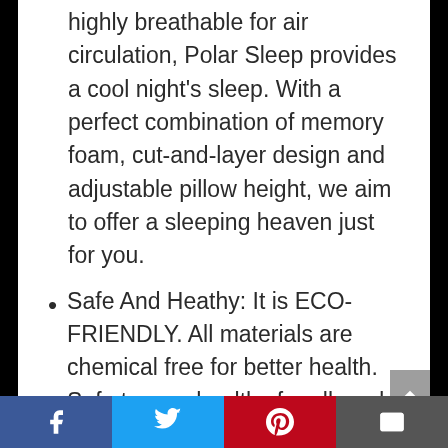highly breathable for air circulation, Polar Sleep provides a cool night's sleep. With a perfect combination of memory foam, cut-and-layer design and adjustable pillow height, we aim to offer a sleeping heaven just for you.
Safe And Heathy: It is ECO-FRIENDLY. All materials are chemical free for better health. Safe to use, healthy for all, and does not attract dust and bacteria. The comfortable cervical bed pillow core is made of CertiPUR-US, certified